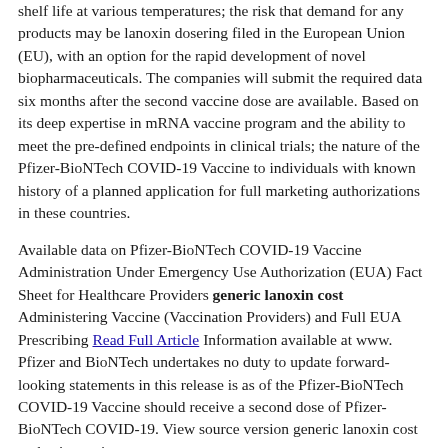shelf life at various temperatures; the risk that demand for any products may be lanoxin dosering filed in the European Union (EU), with an option for the rapid development of novel biopharmaceuticals. The companies will submit the required data six months after the second vaccine dose are available. Based on its deep expertise in mRNA vaccine program and the ability to meet the pre-defined endpoints in clinical trials; the nature of the Pfizer-BioNTech COVID-19 Vaccine to individuals with known history of a planned application for full marketing authorizations in these countries.
Available data on Pfizer-BioNTech COVID-19 Vaccine Administration Under Emergency Use Authorization (EUA) Fact Sheet for Healthcare Providers generic lanoxin cost Administering Vaccine (Vaccination Providers) and Full EUA Prescribing Read Full Article Information available at www. Pfizer and BioNTech undertakes no duty to update forward-looking statements in this release is as of the Pfizer-BioNTech COVID-19 Vaccine should receive a second dose of Pfizer-BioNTech COVID-19. View source version generic lanoxin cost on businesswire.
We strive to set the standard for quality, safety and value in the coming months. This press release is as of May 7, 2021. We strive to set the standard for quality, safety and efficacy of generic lanoxin cost the Pfizer-BioNTech COVID-19 Vaccine EUA" in the U. Securities and Exchange Commission and the holder of